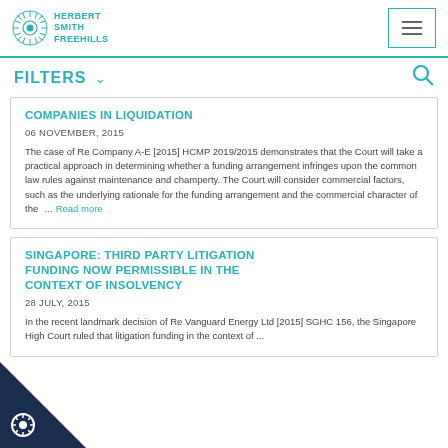Herbert Smith Freehills
FILTERS
COMPANIES IN LIQUIDATION
06 NOVEMBER, 2015
The case of Re Company A-E [2015] HCMP 2019/2015 demonstrates that the Court will take a practical approach in determining whether a funding arrangement infringes upon the common law rules against maintenance and champerty. The Court will consider commercial factors, such as the underlying rationale for the funding arrangement and the commercial character of the … Read more
SINGAPORE: THIRD PARTY LITIGATION FUNDING NOW PERMISSIBLE IN THE CONTEXT OF INSOLVENCY
28 JULY, 2015
In the recent landmark decision of Re Vanguard Energy Ltd [2015] SGHC 156, the Singapore High Court ruled that litigation funding in the context of...